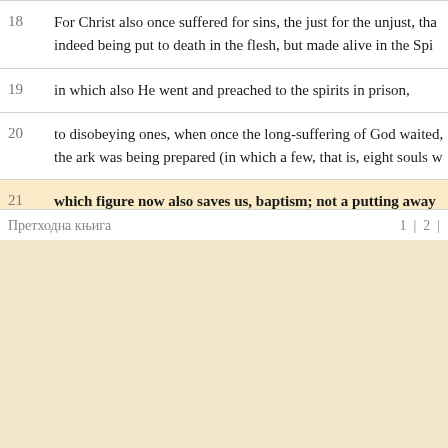18 For Christ also once suffered for sins, the just for the unjust, that indeed being put to death in the flesh, but made alive in the Spi...
19 in which also He went and preached to the spirits in prison,
20 to disobeying ones, when once the long-suffering of God waited, the ark was being prepared (in which a few, that is, eight souls w...
21 which figure now also saves us, baptism; not a putting away of the answer of a good conscience toward God, by [the] resurrect...
22 who is at [the] right [hand] of God, having gone into Heaven, w... authorities and powers are being subjected to Him.
Претходна књига   1 | 2 |